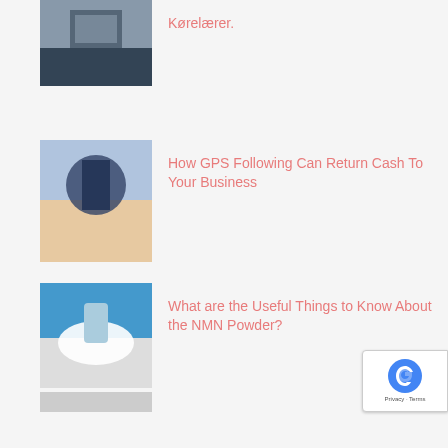Kørelærer.
How GPS Following Can Return Cash To Your Business
What are the Useful Things to Know About the NMN Powder?
เว็บพนันออนไลน์ที่ดีที่สุดในเอเชีย พนัน กีฬา-คาสิโน บริการตลอด 24 ชั่วโมง
5 Tips to find the Best Lawn Aeration